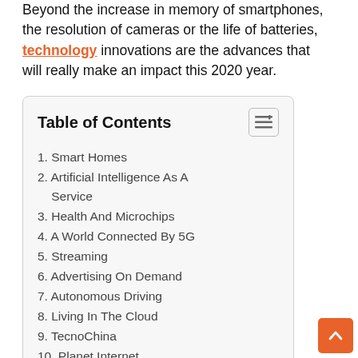Beyond the increase in memory of smartphones, the resolution of cameras or the life of batteries, technology innovations are the advances that will really make an impact this 2020 year.
Table of Contents
1. Smart Homes
2. Artificial Intelligence As A Service
3. Health And Microchips
4. A World Connected By 5G
5. Streaming
6. Advertising On Demand
7. Autonomous Driving
8. Living In The Cloud
9. TecnoChina
10. Planet Internet